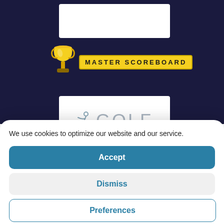[Figure (screenshot): Dark navy background with Master Scoreboard logo (trophy icon + yellow badge with text) and a white card below showing a golf icon and GOLF text in light gray]
We use cookies to optimize our website and our service.
Accept
Dismiss
Preferences